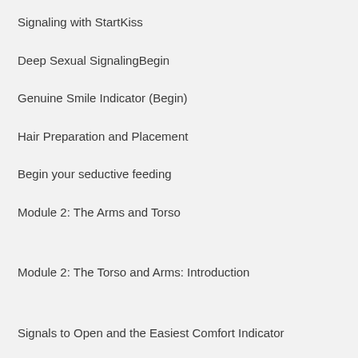Signaling with StartKiss
Deep Sexual SignalingBegin
Genuine Smile Indicator (Begin)
Hair Preparation and Placement
Begin your seductive feeding
Module 2: The Arms and Torso
Module 2: The Torso and Arms: Introduction
Signals to Open and the Easiest Comfort Indicator